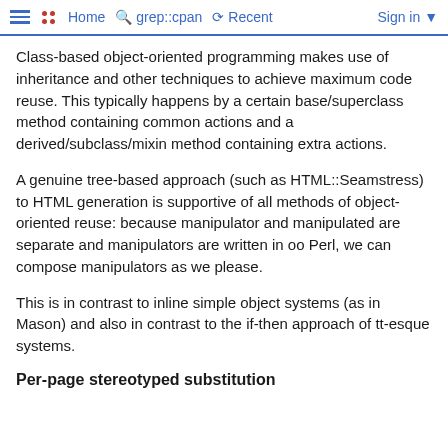Home  grep::cpan  Recent  Sign in
Class-based object-oriented programming makes use of inheritance and other techniques to achieve maximum code reuse. This typically happens by a certain base/superclass method containing common actions and a derived/subclass/mixin method containing extra actions.
A genuine tree-based approach (such as HTML::Seamstress) to HTML generation is supportive of all methods of object-oriented reuse: because manipulator and manipulated are separate and manipulators are written in oo Perl, we can compose manipulators as we please.
This is in contrast to inline simple object systems (as in Mason) and also in contrast to the if-then approach of tt-esque systems.
Per-page stereotyped substitution